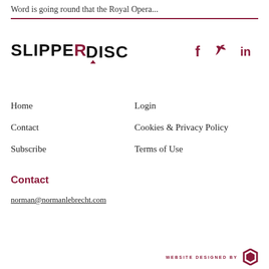Word is going round that the Royal Opera...
[Figure (logo): SlipperDisc logo in bold uppercase text with maroon accent]
[Figure (infographic): Social media icons: Facebook (f), Twitter (bird), LinkedIn (in) in maroon]
Home
Login
Contact
Cookies & Privacy Policy
Subscribe
Terms of Use
Contact
norman@normanlebrecht.com
WEBSITE DESIGNED BY